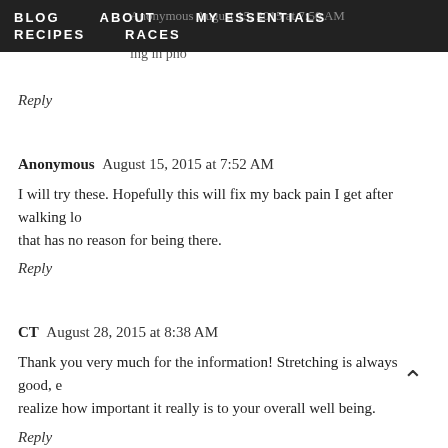BLOG   ABOUT   MY ESSENTIALS   RECIPES   RACES
Anonymous  August 15, 2015 at 7:50 AM
I've had this problem my whole adult life: thin but always look like I'm bloating in photos...
Reply
Anonymous  August 15, 2015 at 7:52 AM
I will try these. Hopefully this will fix my back pain I get after walking long distances and a pain that has no reason for being there.
Reply
CT  August 28, 2015 at 8:38 AM
Thank you very much for the information! Stretching is always good, e... realize how important it really is to your overall well being.
Reply
SarahM  November 20, 2015 at 7:43 AM
I am incredibly happy to see this information! I knew there had to be a reason for my such bad posture. I can actually feel the my pelvis is tilted. Whenever I br...